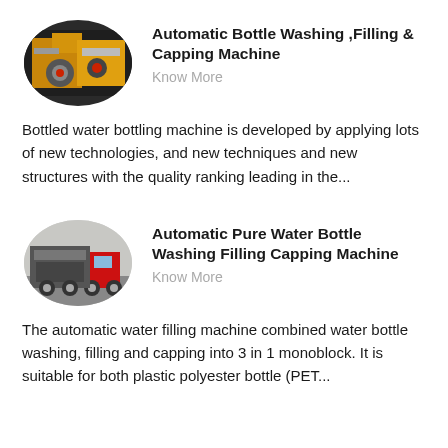[Figure (photo): Circular thumbnail photo of an industrial bottle washing, filling and capping machine with yellow and orange mechanical components]
Automatic Bottle Washing ,Filling & Capping Machine
Know More
Bottled water bottling machine is developed by applying lots of new technologies, and new techniques and new structures with the quality ranking leading in the...
[Figure (photo): Circular thumbnail photo of an automatic pure water bottle washing filling capping machine loaded on a truck, with a red truck cab visible]
Automatic Pure Water Bottle Washing Filling Capping Machine
Know More
The automatic water filling machine combined water bottle washing, filling and capping into 3 in 1 monoblock. It is suitable for both plastic polyester bottle (PET...